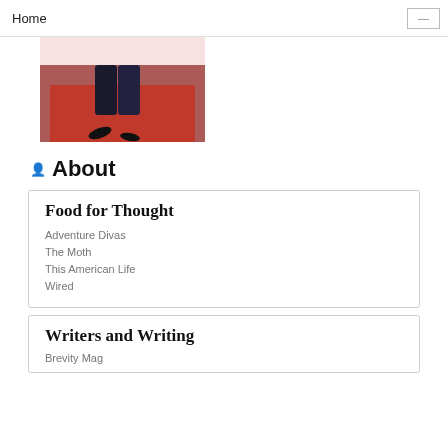Home
[Figure (photo): Person sitting on a large red cube/chair, wearing black outfit, partial view of legs and red furniture against a blue-grey background. Top portion shows a faded pink/red overlay.]
About
Food for Thought
Adventure Divas
The Moth
This American Life
Wired
Writers and Writing
Brevity Mag